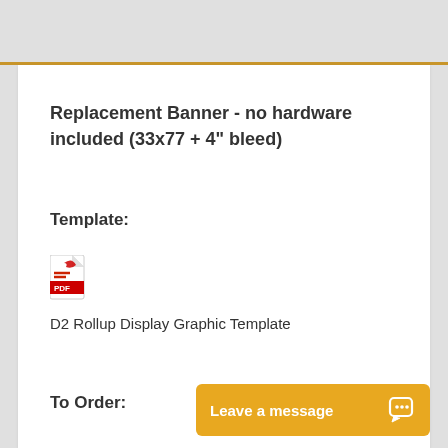Replacement Banner - no hardware included (33x77 + 4" bleed)
Template:
[Figure (illustration): Red PDF file icon with 'PDF' label]
D2 Rollup Display Graphic Template
To Order:
Leave a message